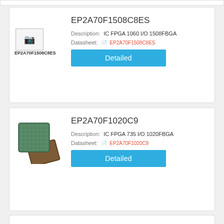[Figure (other): Top partial remnant of a product card (clipped)]
EP2A70F1508C8ES
Description: IC FPGA 1060 I/O 1508FBGA
Datasheet: EP2A70F1508C8ES
Detailed
EP2A70F1020C9
Description: IC FPGA 735 I/O 1020FBGA
Datasheet: EP2A70F1020C9
Detailed
EP2A70F1020C8
Description: IC FPGA 735 I/O 1020FBGA
Datasheet: EP2A70F1020C8